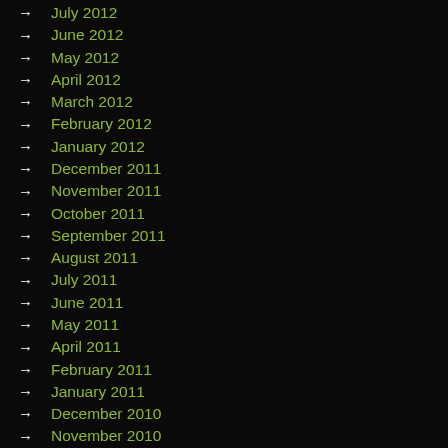→ July 2012
→ June 2012
→ May 2012
→ April 2012
→ March 2012
→ February 2012
→ January 2012
→ December 2011
→ November 2011
→ October 2011
→ September 2011
→ August 2011
→ July 2011
→ June 2011
→ May 2011
→ April 2011
→ February 2011
→ January 2011
→ December 2010
→ November 2010